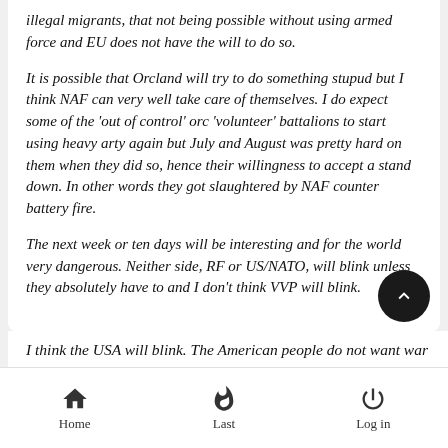illegal migrants, that not being possible without using armed force and EU does not have the will to do so.
It is possible that Orcland will try to do something stupud but I think NAF can very well take care of themselves. I do expect some of the 'out of control' orc 'volunteer' battalions to start using heavy arty again but July and August was pretty hard on them when they did so, hence their willingness to accept a stand down. In other words they got slaughtered by NAF counter battery fire.
The next week or ten days will be interesting and for the world very dangerous. Neither side, RF or US/NATO, will blink unless they absolutely have to and I don't think VVP will blink.
I think the USA will blink. The American people do not want war
Home   Last   Log in